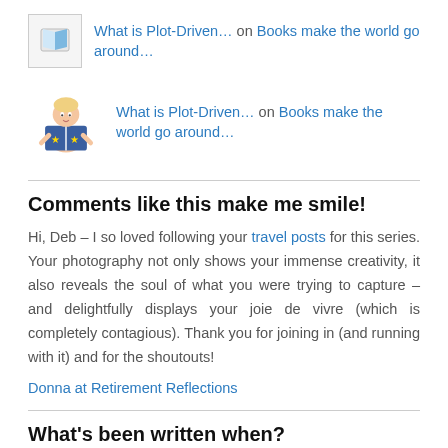What is Plot-Driven… on Books make the world go around…
What is Plot-Driven… on Books make the world go around…
Comments like this make me smile!
Hi, Deb – I so loved following your travel posts for this series. Your photography not only shows your immense creativity, it also reveals the soul of what you were trying to capture – and delightfully displays your joie de vivre (which is completely contagious). Thank you for joining in (and running with it) and for the shoutouts!
Donna at Retirement Reflections
What's been written when?